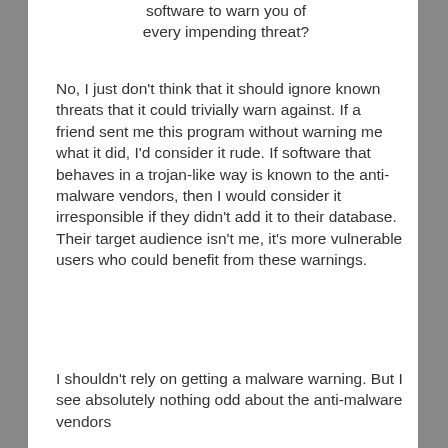software to warn you of every impending threat?
No, I just don't think that it should ignore known threats that it could trivially warn against. If a friend sent me this program without warning me what it did, I'd consider it rude. If software that behaves in a trojan-like way is known to the anti-malware vendors, then I would consider it irresponsible if they didn't add it to their database. Their target audience isn't me, it's more vulnerable users who could benefit from these warnings.
I shouldn't rely on getting a malware warning. But I see absolutely nothing odd about the anti-malware vendors...